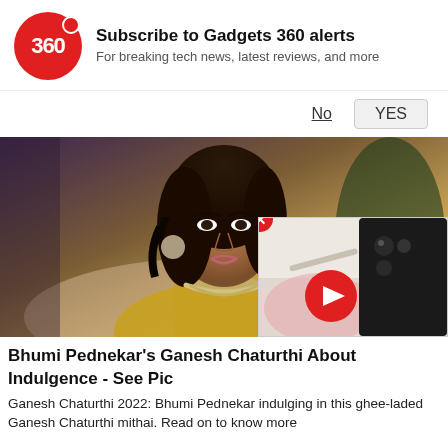Subscribe to Gadgets 360 alerts
For breaking tech news, latest reviews, and more
No   YES
[Figure (photo): Photo of Bhumi Pednekar wearing jewellery and a yellow outfit, with a blurred background]
[Figure (screenshot): Video popup showing a smartphone on a desk with a red play button overlay, and a red close button]
Bhumi Pednekar's Ganesh Chaturthi About Indulgence - See Pic
Ganesh Chaturthi 2022: Bhumi Pednekar indulging in this ghee-laded Ganesh Chaturthi mithai. Read on to know more